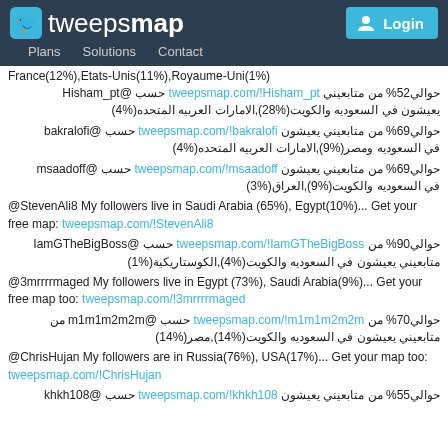tweepsmap | Plans | Solutions | Contact | Login
France(12%),Etats-Unis(11%),Royaume-Uni(1%)
حوالي52% من متابعيني يعيشون في السعوديه والكويت(%28),الامارات العربيه المتحده(%4) حسب tweepsmap.com/!Hisham_pt @Hisham_pt
حوالي69% من متابعيني يعيشون في السعوديه ومصر(%9),الامارات العربيه المتحده(%4) حسب tweepsmap.com/!bakralofi @bakralofi
حوالي69% من متابعيني يعيشون في السعوديه والكويت(%9),العراق(%3) حسب tweepsmap.com/!msaadoff @msaadoff
@StevenAli8 My followers live in Saudi Arabia (65%), Egypt(10%)... Get your free map: tweepsmap.com/!StevenAli8
حوالي90% من متابعيني يعيشون في السعوديه والكويت(%4),الكوستاريكية(%1) حسب tweepsmap.com/!IamGTheBigBoss @IamGTheBigBoss
@3mrrrrmaged My followers live in Egypt (73%), Saudi Arabia(9%)... Get your free map too: tweepsmap.com/!3mrrrrmaged
حوالي70% من متابعيني يعيشون في السعوديه والكويت(%14),مصر(%14) حسب tweepsmap.com/!m1m1m2m2m @m1m1m2m2m
@ChrisHujan My followers are in Russia(76%), USA(17%)... Get your map too: tweepsmap.com/!ChrisHujan
حوالي55% من متابعيني يعيشون في السعوديه والكويت(%19),الامارات العربيه المتحده(%5) حسب tweepsmap.com/!khkh108 @khkh108
حوالي31% من متابعيني يعيشون في السعوديه وبريطانيا(%19),الولايات المتحده(%10) حسب tweepsmap.com/!Maram_LFC @Maram_LFC
@haythamea My followers live in Saudi Arabia (47%), UK.(18%)... Get your